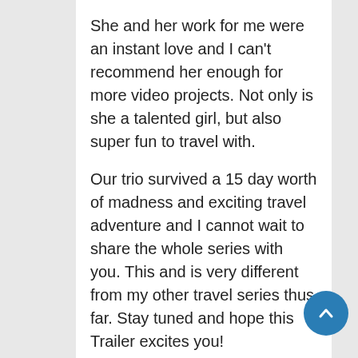She and her work for me were an instant love and I can't recommend her enough for more video projects. Not only is she a talented girl, but also super fun to travel with.
Our trio survived a 15 day worth of madness and exciting travel adventure and I cannot wait to share the whole series with you. This and is very different from my other travel series thus far. Stay tuned and hope this Trailer excites you!
Do check out their channels as well and subscribe –